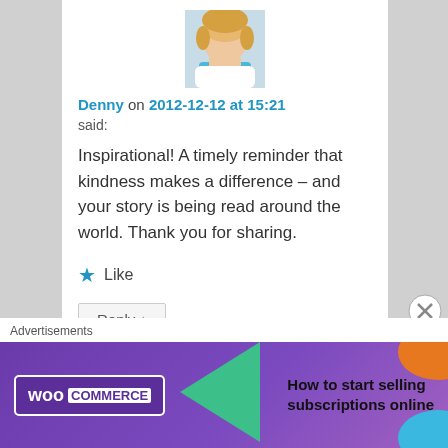[Figure (photo): Avatar photo of a blonde woman with blue scarf]
Denny on 2012-12-12 at 15:21
said:
Inspirational! A timely reminder that kindness makes a difference – and your story is being read around the world. Thank you for sharing.
★ Like
Reply ↓
[Figure (photo): Avatar photo of person on mountain by a lake]
merlinspielen on 2012-12-12 at 21:32 said:
Advertisements
[Figure (other): WooCommerce advertisement banner: How to start selling subscriptions online]